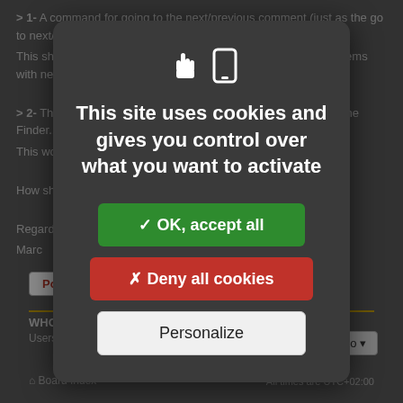> 1- A command for going to the next/previous comment (just as the go to next/previous untranslated item actually works) This should fix this. The nice thing is that it also solves the problems with new messages.
> 2- The possibility to search comments, to enumerate them in the Finder... This works as well! How should I think about this? Regards, Marc
Post Reply
Jump to
WHO IS ONLINE
Users browsing this forum: No registered users and 1 guest
Board index
All times are UTC+02:00
[Figure (screenshot): Cookie consent modal dialog over a dimmed forum page background. The modal has a dark grey rounded rectangle with two icons (hand pointer and mobile phone), title text 'This site uses cookies and gives you control over what you want to activate', a green 'OK, accept all' button, a red 'Deny all cookies' button, and a white 'Personalize' button.]
This site uses cookies and gives you control over what you want to activate
✓ OK, accept all
✗ Deny all cookies
Personalize